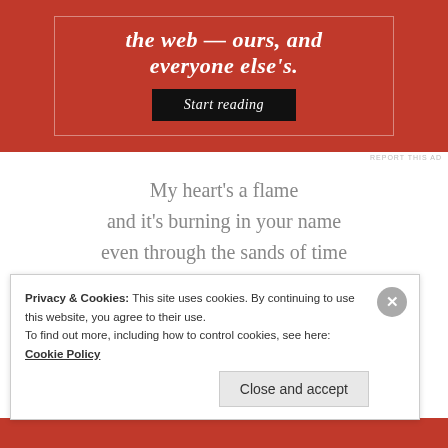[Figure (other): Red advertisement banner with italic bold white text and a dark 'Start reading' button, with a thin white border outline inside the red area.]
My heart's a flame
and it's burning in your name
even through the sands of time
my love will always grow
and I won't let go
Privacy & Cookies: This site uses cookies. By continuing to use this website, you agree to their use.
To find out more, including how to control cookies, see here: Cookie Policy
Close and accept